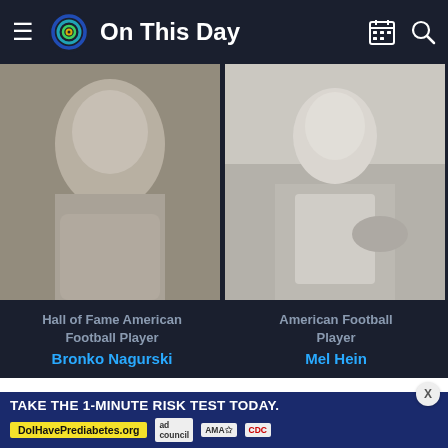On This Day
[Figure (photo): Black and white vintage photo of Bronko Nagurski]
[Figure (photo): Black and white vintage photo of Mel Hein in football uniform crouching]
Hall of Fame American Football Player
Bronko Nagurski
American Football Player
Mel Hein
1933-12-29 New York Yankees owner Jacob Ruppert refuses to release future Baseball Hall of Fame slugger Babe Ruth to manage the Cincinnati Reds
[Figure (infographic): Ad banner: TAKE THE 1-MINUTE RISK TEST TODAY. DoIHavePrediabetes.org — ad council, AMA, CDC logos]